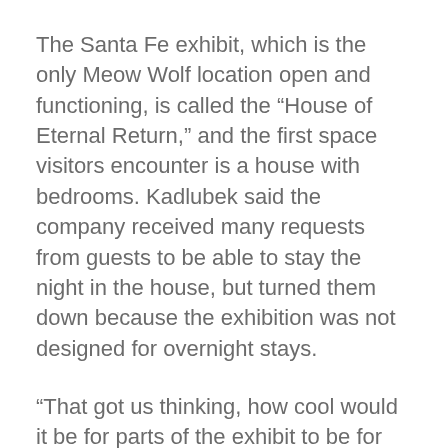The Santa Fe exhibit, which is the only Meow Wolf location open and functioning, is called the “House of Eternal Return,” and the first space visitors encounter is a house with bedrooms. Kadlubek said the company received many requests from guests to be able to stay the night in the house, but turned them down because the exhibition was not designed for overnight stays.
“That got us thinking, how cool would it be for parts of the exhibit to be for overnight-stay opportunities?” Kadlubek said.